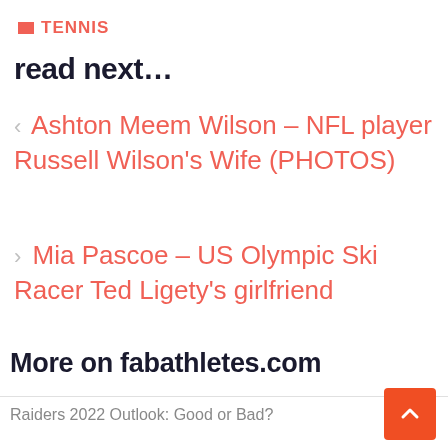TENNIS
read next…
‹ Ashton Meem Wilson – NFL player Russell Wilson's Wife (PHOTOS)
› Mia Pascoe – US Olympic Ski Racer Ted Ligety's girlfriend
More on fabathletes.com
Raiders 2022 Outlook: Good or Bad?